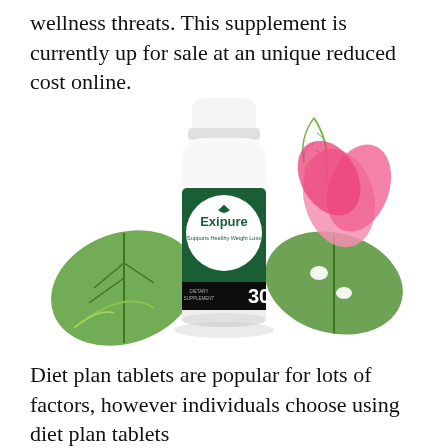wellness threats. This supplement is currently up for sale at an unique reduced cost online.
[Figure (photo): Exipure dietary supplement bottle (30 capsules, 'Supports Healthy Weight Loss') surrounded by tropical green leaves and a pink hibiscus flower on a white background.]
Diet plan tablets are popular for lots of factors, however individuals choose using diet plan tablets